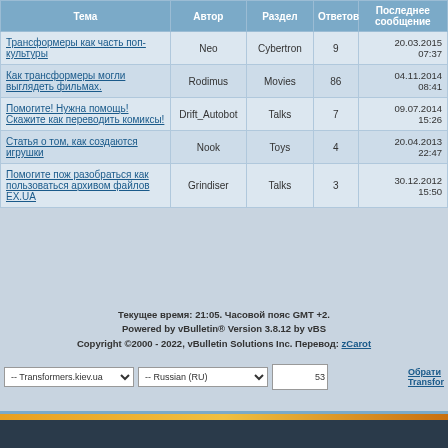| Тема | Автор | Раздел | Ответов | Последнее сообщение |
| --- | --- | --- | --- | --- |
| Трансформеры как часть поп-культуры | Neo | Cybertron | 9 | 20.03.2015 07:37 |
| Как трансформеры могли выглядеть фильмах. | Rodimus | Movies | 86 | 04.11.2014 08:41 |
| Помогите! Нужна помощь! Скажите как переводить комиксы! | Drift_Autobot | Talks | 7 | 09.07.2014 15:26 |
| Статья о том, как создаются игрушки | Nook | Toys | 4 | 20.04.2013 22:47 |
| Помогите пож разобраться как пользоваться архивом файлов EX.UA | Grindiser | Talks | 3 | 30.12.2012 15:50 |
Текущее время: 21:05. Часовой пояс GMT +2.
Powered by vBulletin® Version 3.8.12 by vBS
Copyright ©2000 - 2022, vBulletin Solutions Inc. Перевод: zCarot